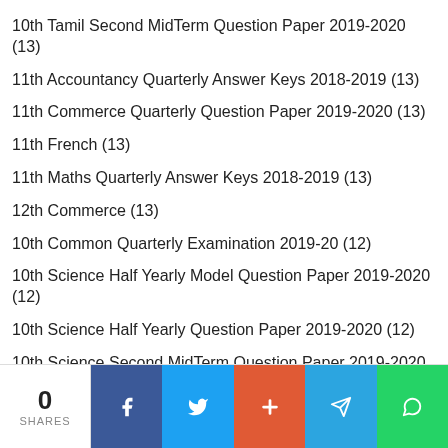10th Tamil Second MidTerm Question Paper 2019-2020 (13)
11th Accountancy Quarterly Answer Keys 2018-2019 (13)
11th Commerce Quarterly Question Paper 2019-2020 (13)
11th French (13)
11th Maths Quarterly Answer Keys 2018-2019 (13)
12th Commerce (13)
10th Common Quarterly Examination 2019-20 (12)
10th Science Half Yearly Model Question Paper 2019-2020 (12)
10th Science Half Yearly Question Paper 2019-2020 (12)
10th Science Second MidTerm Question Paper 2019-2020 (12)
10th Tamil Quarterly Exam Model Question Papers 2019-2020 (12)
0 SHARES